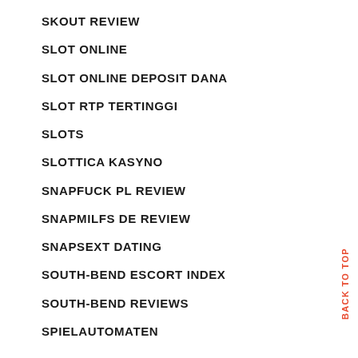SKOUT REVIEW
SLOT ONLINE
SLOT ONLINE DEPOSIT DANA
SLOT RTP TERTINGGI
SLOTS
SLOTTICA KASYNO
SNAPFUCK PL REVIEW
SNAPMILFS DE REVIEW
SNAPSEXT DATING
SOUTH-BEND ESCORT INDEX
SOUTH-BEND REVIEWS
SPIELAUTOMATEN
BACK TO TOP